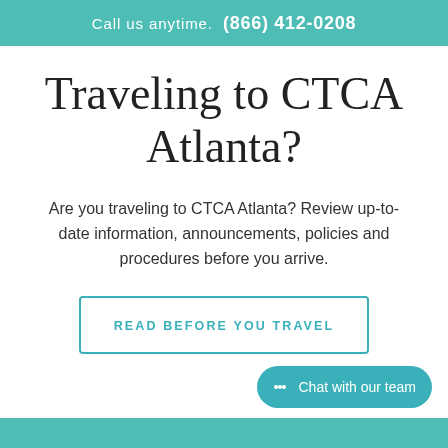Call us anytime. (866) 412-0208
Traveling to CTCA Atlanta?
Are you traveling to CTCA Atlanta? Review up-to-date information, announcements, policies and procedures before you arrive.
READ BEFORE YOU TRAVEL
Chat with our team